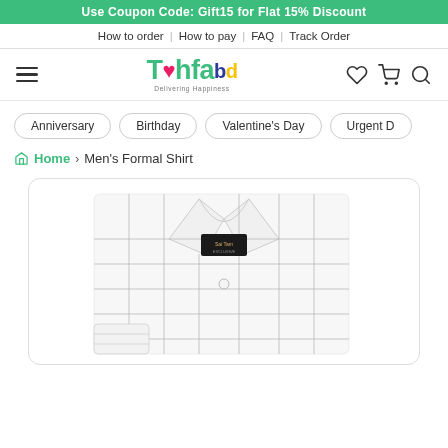Use Coupon Code: Gift15 for Flat 15% Discount
How to order | How to pay | FAQ | Track Order
[Figure (logo): Tohfa.bd logo with colorful letters and Delivering Happiness tagline, hamburger menu icon, heart icon, cart icon, magnifier icon]
Anniversary
Birthday
Valentine's Day
Urgent D
Home › Men's Formal Shirt
[Figure (photo): Men's formal shirt, white with dark grid/check pattern, folded neatly, displayed on a white background inside a rounded card]